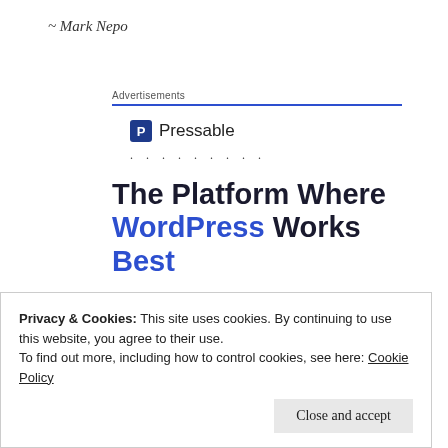~ Mark Nepo
Advertisements
[Figure (logo): Pressable logo with blue square P icon and text 'Pressable']
The Platform Where WordPress Works Best
SEE PRICING
Privacy & Cookies: This site uses cookies. By continuing to use this website, you agree to their use.
To find out more, including how to control cookies, see here: Cookie Policy
Close and accept